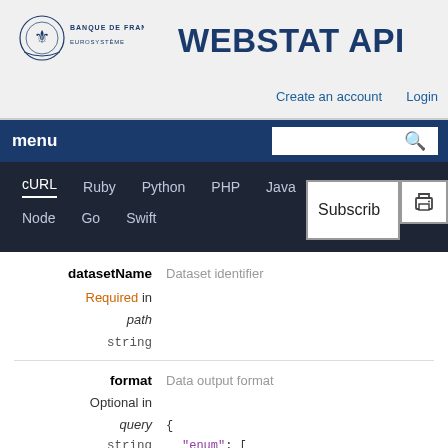BANQUE DE FRANCE EUROSYSTÈME — WEBSTAT API
Create an account   Login
menu
cURL   Ruby   Python   PHP   Java   Node   Go   Swift
Subscribe
datasetName — Dataset identifier
Required in
path
string
format — Data output format
Optional in
query
string
{
    "enum": [
        "json",
        "csv"